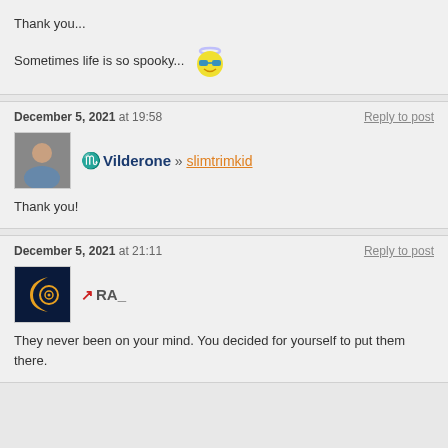Thank you...

Sometimes life is so spooky... [emoji]
December 5, 2021 at 19:58
Reply to post
Vilderone » slimtrimkid
Thank you!
December 5, 2021 at 21:11
Reply to post
RA_
They never been on your mind. You decided for yourself to put them there.